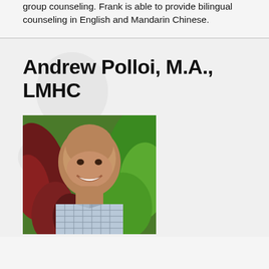group counseling. Frank is able to provide bilingual counseling in English and Mandarin Chinese.
Andrew Polloi, M.A., LMHC
[Figure (photo): Headshot photo of Andrew Polloi, a smiling bald man wearing a plaid shirt, photographed outdoors in front of tropical plants including red and green foliage.]